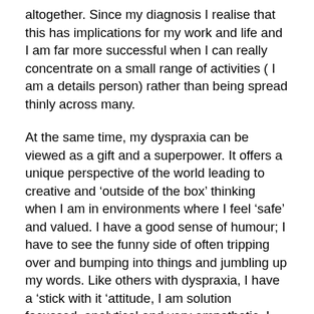altogether.  Since my diagnosis I realise that this has implications for my work and life and I am far more successful when I can really concentrate on a small range of activities ( I am a details person)  rather than being spread thinly across many.
At the same time, my dyspraxia can be viewed as a gift and a superpower.   It offers a unique perspective of the world leading to creative and ‘outside of the box’ thinking when I am in environments where I feel ‘safe’ and valued.  I have a good sense of humour; I have to see the funny side of often tripping over and bumping into things and jumbling up my words. Like others with dyspraxia, I have a ‘stick with it ‘attitude, I am solution focussed, analytical and very empathetic.  I am fortunate to be in a job where I can draw on these strengths to design and deliver teaching, learning and research opportunities which